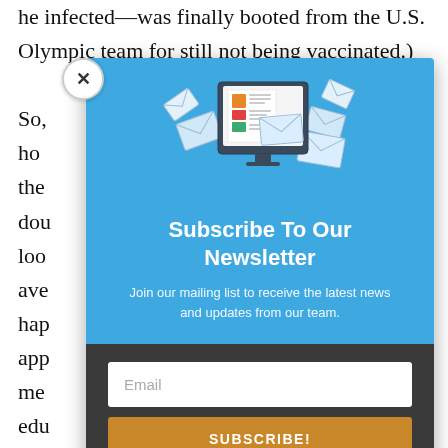he infected—was finally booted from the U.S. Olympic team for still not being vaccinated.)
So, how of the double- looking ave- hap- app- me- edu- sch-
[Figure (screenshot): Newsletter subscription modal popup with blue header containing illustration of computer with envelopes/newspaper, title 'Subscribe To Our Newsletter', subtext 'Join our mailing list to receive the latest news and updates from our team.', dark footer with email input field and orange SUBSCRIBE! button. Close (X) button in top-left corner.]